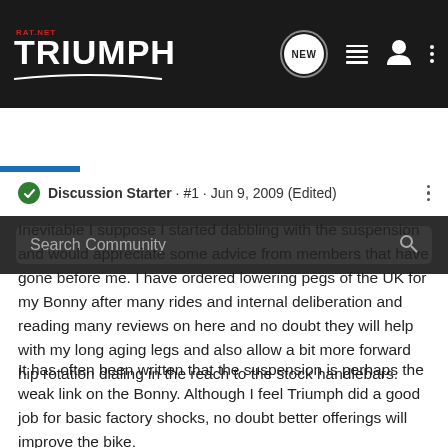[Figure (screenshot): TrimphRat.net forum website header navigation bar with logo, NEW chat icon, list icon, user icon, and more options icon]
[Figure (screenshot): Dark search bar with 'Search Community' placeholder text and magnifying glass icon]
Discussion Starter · #1 · Jun 9, 2009 (Edited)
Inevitable I suppose I started dabbling with the suspension and would appreciate some advice from members that have gone before me. I have ordered lowering pegs of the UK for my Bonny after many rides and internal deliberation and reading many reviews on here and no doubt they will help with my long aging legs and also allow a bit more forward hip rotation dialing in the reach to the stock handlebars.
It has often been written that the suspension is perhaps the weak link on the Bonny. Although I feel Triumph did a good job for basic factory shocks, no doubt better offerings will improve the bike.